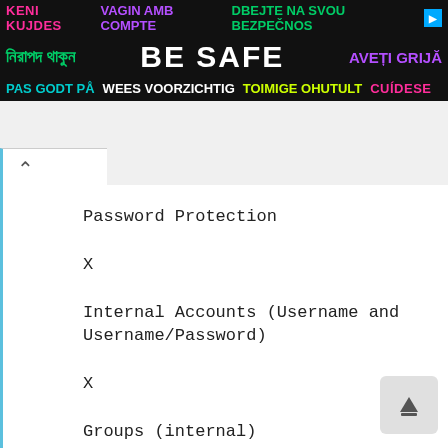[Figure (other): Multilingual 'BE SAFE' banner advertisement with text in multiple languages including Bengali, Dutch, Czech, Estonian, Romanian and others on a black background.]
Password Protection
X
Internal Accounts (Username and Username/Password)
X
Groups (internal)
X
LDAP
X